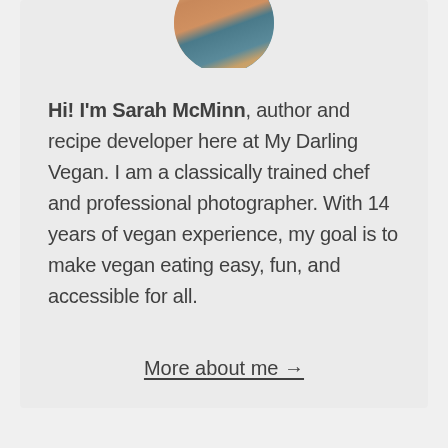[Figure (photo): Circular cropped portrait photo of Sarah McMinn showing top of head and shoulders, partially cropped at top of card]
Hi! I'm Sarah McMinn, author and recipe developer here at My Darling Vegan. I am a classically trained chef and professional photographer. With 14 years of vegan experience, my goal is to make vegan eating easy, fun, and accessible for all.
More about me →